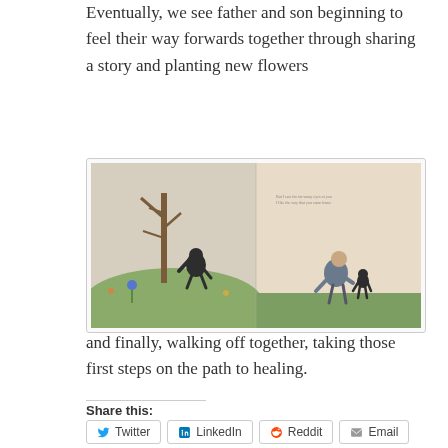Eventually, we see father and son beginning to feel their way forwards together through sharing a story and planting new flowers
[Figure (illustration): A two-page spread illustration from a children's picture book. Left side shows a gorilla-like figure walking in a meadow with a bare tree, flowers, and plants. Right side shows a father figure crouching down with a small child/figure, appearing to plant something together in a green meadow.]
and finally, walking off together, taking those first steps on the path to healing.
Share this:
Twitter
LinkedIn
Reddit
Email